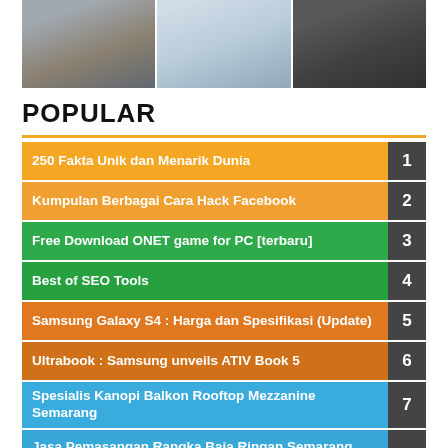[Figure (photo): Three photos of cars/vehicles under canopy structures]
POPULAR
250 Fakta Unik dan Menarik Dunia
Kumpulan Berbagai Cara Hack Facebook
Free Download ONET game for PC [terbaru]
Best of SEO Tools
Samsung Galaxy S4 : Harga dan Spesifikasi (Update)
Ultrabook : Samsung unveils ATIV Book 5
Spesialis Kanopi Balkon Rooftop Mezzanine Semarang
Jasa Pemasangan Rangka Baja Ringan Semarang Murah Berkualitas
New Hacking Chips Zynga Poker On Facebook